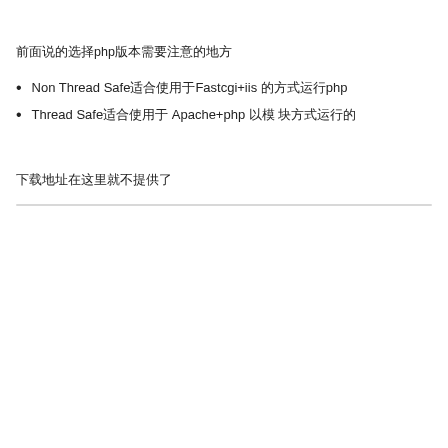前面说的选择php版本需要注意的地方
Non Thread Safe适合使用于Fastcgi+iis 的方式运行php
Thread Safe适合使用于 Apache+php 以模 块方式运行的
下载地址在这里就不提供了